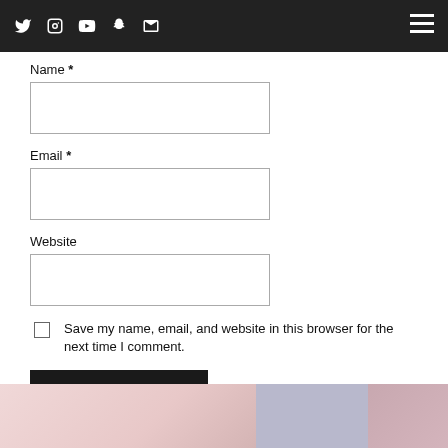Social media icons and hamburger menu
Name *
Email *
Website
Save my name, email, and website in this browser for the next time I comment.
POST COMMENT
[Figure (photo): Bottom image strip showing partial photos: pink/white scene on left, ID cards in middle, pink scene on right]